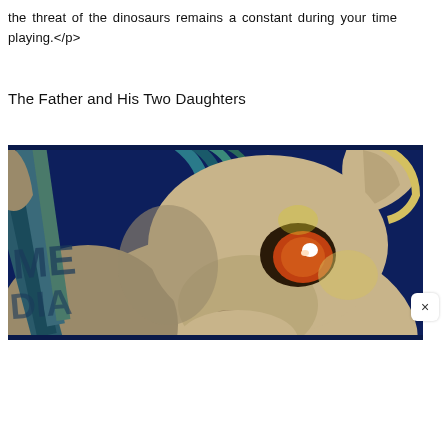the threat of the dinosaurs remains a constant during your time playing.</p>
The Father and His Two Daughters
[Figure (illustration): Close-up illustration of an animated donkey or horse face with an orange eye, tan/beige fur, and teal/blue mane against a dark blue background. Stylized cartoon art style.]